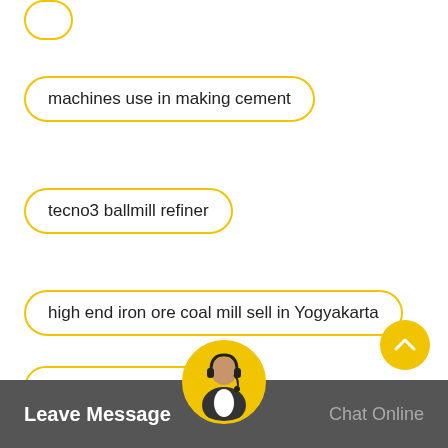machines use in making cement
tecno3 ballmill refiner
high end iron ore coal mill sell in Yogyakarta
spiral classifier metal
mini double roller crushers indonesia
cement plant project turkey
Leave Message   Chat Online